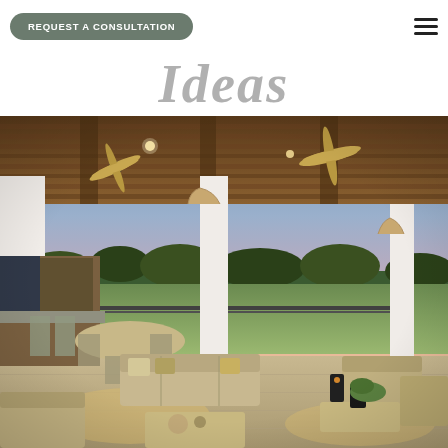REQUEST A CONSULTATION
Ideas
[Figure (photo): Covered outdoor patio with wicker furniture, cushioned sofas and chairs, a dining table with chairs, ceiling fans, white columns with wood brackets, and a view of a green lawn and treeline under a pink and blue sunset sky.]